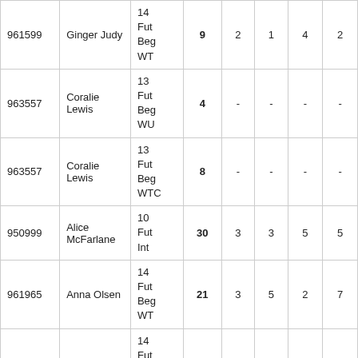| 961599 | Ginger Judy | 14
Fut
Beg
WT | 9 | 2 | 1 | 4 | 2 |
| 963557 | Coralie Lewis | 13
Fut
Beg
WU | 4 | - | - | - | - |
| 963557 | Coralie Lewis | 13
Fut
Beg
WTC | 8 | - | - | - | - |
| 950999 | Alice McFarlane | 10
Fut
Int | 30 | 3 | 3 | 5 | 5 |
| 961965 | Anna Olsen | 14
Fut
Beg
WT | 21 | 3 | 5 | 2 | 7 |
| 961965 | Anna Olsen | 14
Fut
Beg
WU | 4 | 2 | 0 | 1 | 0 |
| 961992 | Anna-Lynn Roberts | 14
Fut
Beg
WT | 2 | 1 | 1 | - | - |
|  |  | 14 |  |  |  |  |  |